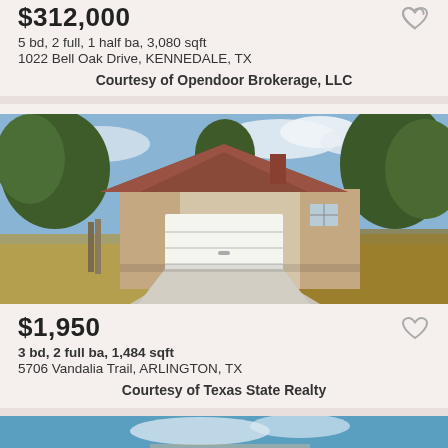$312,000
5 bd, 2 full, 1 half ba, 3,080 sqft
1022 Bell Oak Drive, KENNEDALE, TX
Courtesy of Opendoor Brokerage, LLC
[Figure (photo): Exterior photo of a single-story brick house with white garage door, concrete driveway, trees in background, dry grass lawn]
$1,950
3 bd, 2 full ba, 1,484 sqft
5706 Vandalia Trail, ARLINGTON, TX
Courtesy of Texas State Realty
[Figure (photo): Partially visible exterior photo of another property, blue sky visible at top]